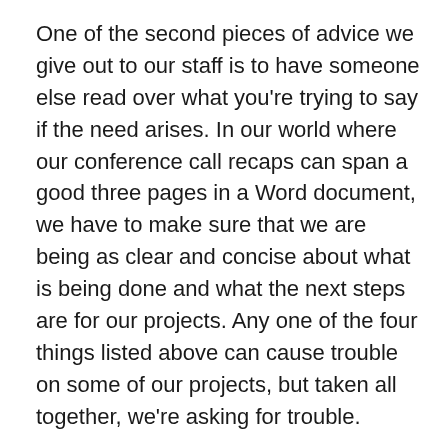One of the second pieces of advice we give out to our staff is to have someone else read over what you're trying to say if the need arises. In our world where our conference call recaps can span a good three pages in a Word document, we have to make sure that we are being as clear and concise about what is being done and what the next steps are for our projects. Any one of the four things listed above can cause trouble on some of our projects, but taken all together, we're asking for trouble.
We let our staff know that if the email they're trying to send out is long-winded or convoluted, beyond slowing down and re-reading what they're writing, it's always best to have someone else review the emails. I will send my more confusing emails to other staff members – both supervisors like myself or other staff in the office – to have